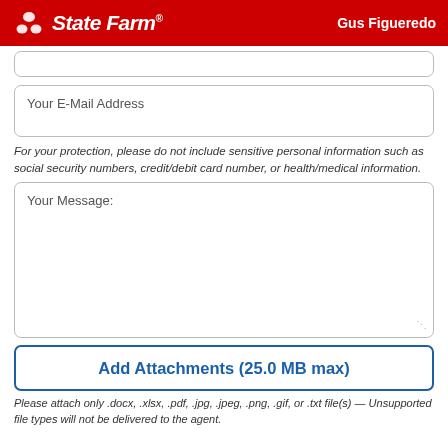State Farm — Gus Figueredo
Your E-Mail Address
For your protection, please do not include sensitive personal information such as social security numbers, credit/debit card number, or health/medical information.
Your Message:
Add Attachments (25.0 MB max)
Please attach only .docx, .xlsx, .pdf, .jpg, .jpeg, .png, .gif, or .txt file(s) — Unsupported file types will not be delivered to the agent.